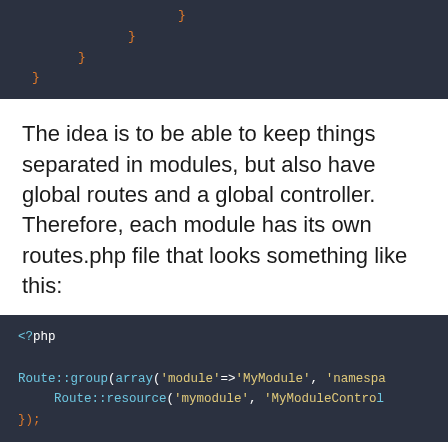[Figure (screenshot): Dark-themed code block showing closing curly braces at various indentation levels]
The idea is to be able to keep things separated in modules, but also have global routes and a global controller. Therefore, each module has its own routes.php file that looks something like this:
[Figure (screenshot): Dark-themed PHP code block showing Route::group with array parameters including module=>MyModule and namespace, and Route::resource for mymodule and MyModuleController, closed with });]
I then have a global routes.php file that looks